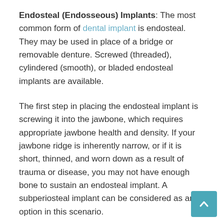Endosteal (Endosseous) Implants: The most common form of dental implant is endosteal. They may be used in place of a bridge or removable denture. Screwed (threaded), cylindered (smooth), or bladed endosteal implants are available.
The first step in placing the endosteal implant is screwing it into the jawbone, which requires appropriate jawbone health and density. If your jawbone ridge is inherently narrow, or if it is short, thinned, and worn down as a result of trauma or disease, you may not have enough bone to sustain an endosteal implant. A subperiosteal implant can be considered as an option in this scenario.
Treatment: Endosteal implants begin with a titanium screw inserted into the jawbone to act as an artificial root. You have to wait for the soft